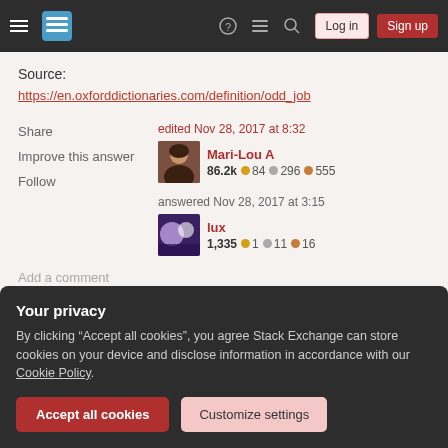Stack Exchange navigation bar with hamburger menu, logo, help, feedback, search icons, Log in and Sign up buttons
Source:
https://en.oxforddictionaries.com/definition/odd_job
Share
Improve this answer
Follow
edited Nov 28, 2017 at 8:32
Mari-Lou A
86.2k  84  296  555
answered Nov 28, 2017 at 3:15
lux
1,335  1  11  16
Add a comment
Your privacy
By clicking “Accept all cookies”, you agree Stack Exchange can store cookies on your device and disclose information in accordance with our Cookie Policy.
Accept all cookies
Customize settings